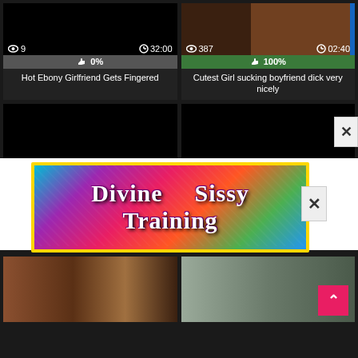[Figure (screenshot): Video thumbnail - black screen with view count 9 and duration 32:00]
0%
Hot Ebony Girlfriend Gets Fingered
[Figure (photo): Video thumbnail showing person, view count 387, duration 02:40]
100%
Cutest Girl sucking boyfriend dick very nicely
[Figure (screenshot): Black video thumbnail]
[Figure (screenshot): Black video thumbnail]
[Figure (illustration): Advertisement banner: Divine Sissy Training with colorful glitter background]
[Figure (photo): Bottom left video thumbnail showing two women]
[Figure (photo): Bottom right video thumbnail showing people in bathroom with back-to-top button]